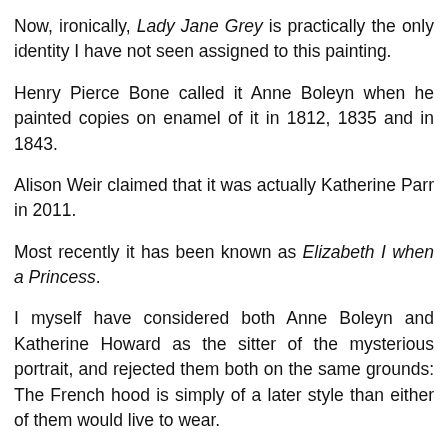Now, ironically, Lady Jane Grey is practically the only identity I have not seen assigned to this painting.
Henry Pierce Bone called it Anne Boleyn when he painted copies on enamel of it in 1812, 1835 and in 1843.
Alison Weir claimed that it was actually Katherine Parr in 2011.
Most recently it has been known as Elizabeth I when a Princess.
I myself have considered both Anne Boleyn and Katherine Howard as the sitter of the mysterious portrait, and rejected them both on the same grounds: The French hood is simply of a later style than either of them would live to wear.
Allow me to make the suggestion now.